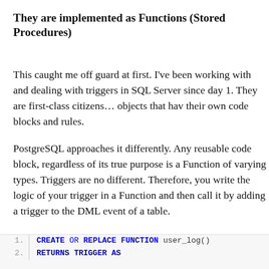They are implemented as Functions (Stored Procedures)
This caught me off guard at first. I've been working with and dealing with triggers in SQL Server since day 1. They are first-class citizens... objects that have their own code blocks and rules.
PostgreSQL approaches it differently. Any reusable code block, regardless of its true purpose is a Function of varying types. Triggers are no different. Therefore, you write the logic of your trigger in a Function and then call it by adding a trigger to the DML event of a table.
1.   CREATE OR REPLACE FUNCTION user_log()
2.   RETURNS TRIGGER AS